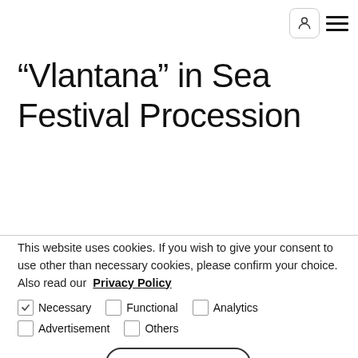[User icon] [Hamburger menu]
“Vlantana” in Sea Festival Procession
This website uses cookies. If you wish to give your consent to use other than necessary cookies, please confirm your choice. Also read our Privacy Policy
Necessary (checked), Functional, Analytics
Advertisement, Others
Cookie settings | ACCEPT SELECTED | ACCEPT ALL